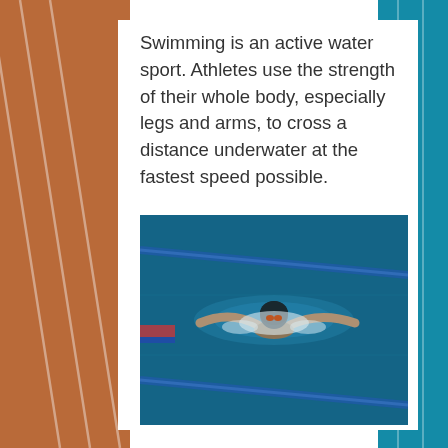Swimming is an active water sport. Athletes use the strength of their whole body, especially legs and arms, to cross a distance underwater at the fastest speed possible.
[Figure (photo): Aerial view of a swimmer doing butterfly stroke in a swimming pool, arms outstretched, wearing a black swim cap, with blue lane dividers and turquoise water visible.]